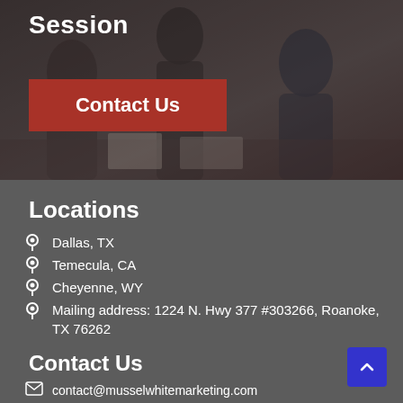[Figure (photo): Background photo of people in a business meeting around a table, darkened overlay]
Session
Contact Us
Locations
Dallas, TX
Temecula, CA
Cheyenne, WY
Mailing address: 1224 N. Hwy 377 #303266, Roanoke, TX 76262
Contact Us
contact@musselwhitemarketing.com